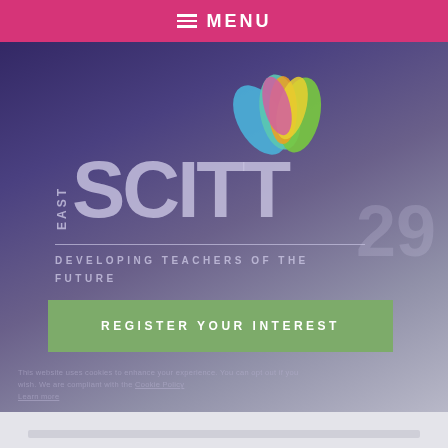MENU
[Figure (logo): East SCITT logo — colorful lotus/flower petals above large text 'EAST SCITT' with tagline 'DEVELOPING TEACHERS OF THE FUTURE' on a purple gradient background]
REGISTER YOUR INTEREST
Cookie Policy Learn more